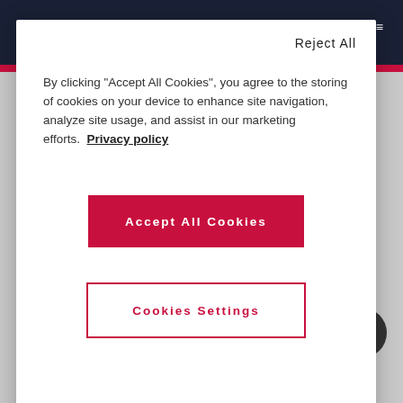KEDGE — Menu
Reject All
By clicking "Accept All Cookies", you agree to the storing of cookies on your device to enhance site navigation, analyze site usage, and assist in our marketing efforts.  Privacy policy
Accept All Cookies
Cookies Settings
HUET, "A Conceptual System of Antecedents and Processes in Social Entrepreneurship Opportunity
2021
Jo...rtic